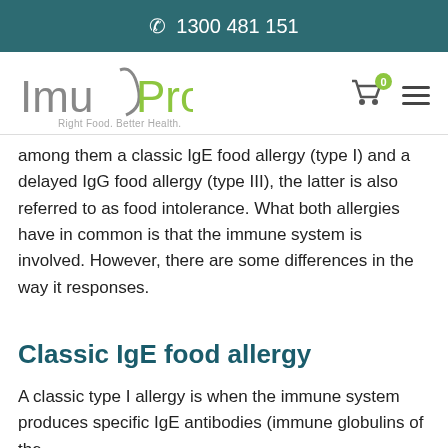1300 481 151
[Figure (logo): ImuPro logo with tagline 'Right Food. Better Health.']
among them a classic IgE food allergy (type I) and a delayed IgG food allergy (type III), the latter is also referred to as food intolerance. What both allergies have in common is that the immune system is involved. However, there are some differences in the way it responses.
Classic IgE food allergy
A classic type I allergy is when the immune system produces specific IgE antibodies (immune globulins of the